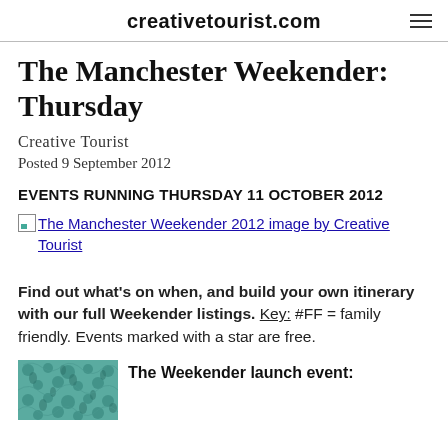creativetourist.com
The Manchester Weekender: Thursday
Creative Tourist
Posted 9 September 2012
EVENTS RUNNING THURSDAY 11 OCTOBER 2012
[Figure (photo): Broken image link: The Manchester Weekender 2012 image by Creative Tourist]
Find out what’s on when, and build your own itinerary with our full Weekender listings. Key: #FF = family friendly. Events marked with a star are free.
[Figure (photo): Thumbnail image with teal/green decorative pattern for The Manchester Weekender 2012]
The Weekender launch event: